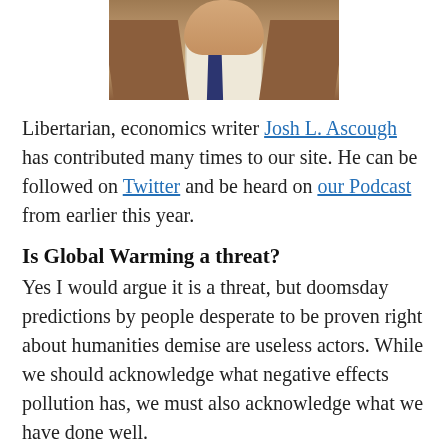[Figure (photo): Cropped photo of a man wearing a brown jacket, plaid shirt, and dark blue tie, shown from chest up]
Libertarian, economics writer Josh L. Ascough has contributed many times to our site. He can be followed on Twitter and be heard on our Podcast from earlier this year.
Is Global Warming a threat?
Yes I would argue it is a threat, but doomsday predictions by people desperate to be proven right about humanities demise are useless actors. While we should acknowledge what negative effects pollution has, we must also acknowledge what we have done well.